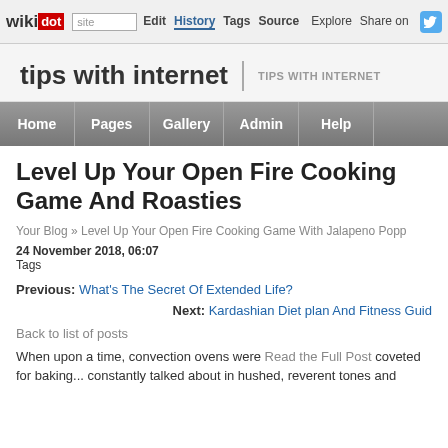wikidot | site | Edit | History | Tags | Source | Explore | Share on [Twitter]
tips with internet | TIPS WITH INTERNET
Home | Pages | Gallery | Admin | Help
Level Up Your Open Fire Cooking Game And Roasties
Your Blog » Level Up Your Open Fire Cooking Game With Jalapeno Popp...
24 November 2018, 06:07
Tags
Previous: What's The Secret Of Extended Life?
Next: Kardashian Diet plan And Fitness Guid...
Back to list of posts
When upon a time, convection ovens were Read the Full Post coveted for baking... constantly talked about in hushed, reverent tones and...